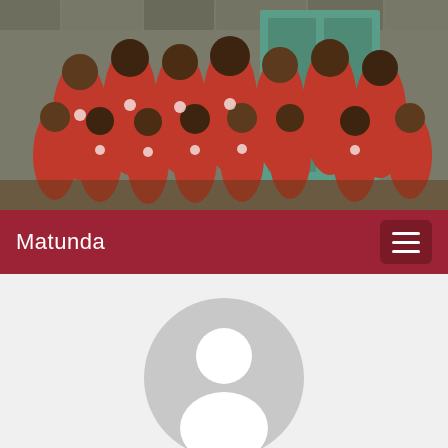[Figure (photo): Group photo of children and adults wearing red soccer jerseys, standing in front of a teal door and stone wall]
Matunda
[Figure (illustration): Default user avatar — circular grey placeholder with white silhouette of a person]
Charles Pfeifle
[Figure (other): Email icon button — dark circle with white envelope icon]